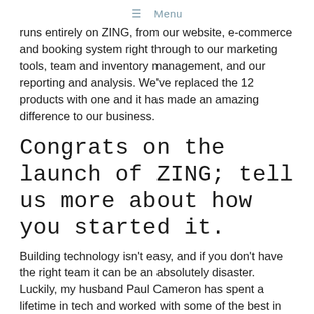≡ Menu
runs entirely on ZING, from our website, e-commerce and booking system right through to our marketing tools, team and inventory management, and our reporting and analysis. We've replaced the 12 products with one and it has made an amazing difference to our business.
Congrats on the launch of ZING; tell us more about how you started it.
Building technology isn't easy, and if you don't have the right team it can be an absolutely disaster. Luckily, my husband Paul Cameron has spent a lifetime in tech and worked with some of the best in the business. That's how we were able to establish the incredible